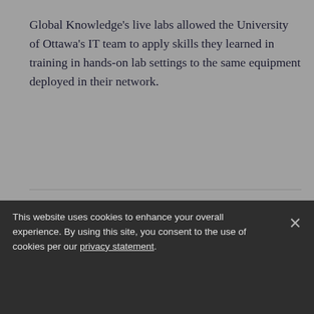Global Knowledge's live labs allowed the University of Ottawa's IT team to apply skills they learned in training in hands-on lab settings to the same equipment deployed in their network.
[Figure (logo): Skillsoft Global Knowledge logo — 'skillsoft' in small text above 'global knowledge.' in large bold text with trademark symbol]
[Figure (other): Social media icon circles for Twitter (bird), Facebook (f), LinkedIn (in), YouTube (play button)]
This website uses cookies to enhance your overall experience. By using this site, you consent to the use of cookies per our privacy statement.